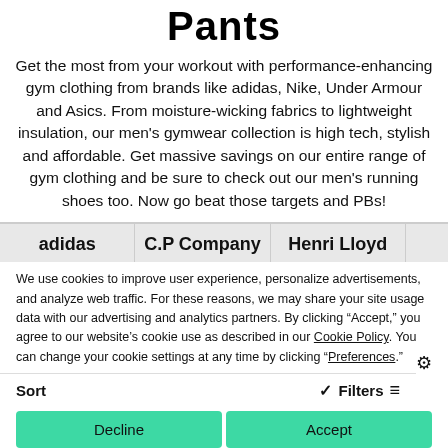Pants
Get the most from your workout with performance-enhancing gym clothing from brands like adidas, Nike, Under Armour and Asics. From moisture-wicking fabrics to lightweight insulation, our men's gymwear collection is high tech, stylish and affordable. Get massive savings on our entire range of gym clothing and be sure to check out our men's running shoes too. Now go beat those targets and PBs!
adidas   C.P Company   Henri Lloyd
We use cookies to improve user experience, personalize advertisements, and analyze web traffic. For these reasons, we may share your site usage data with our advertising and analytics partners. By clicking “Accept,” you agree to our website’s cookie use as described in our Cookie Policy. You can change your cookie settings at any time by clicking “Preferences.”
Sort   Filters
Decline   Accept